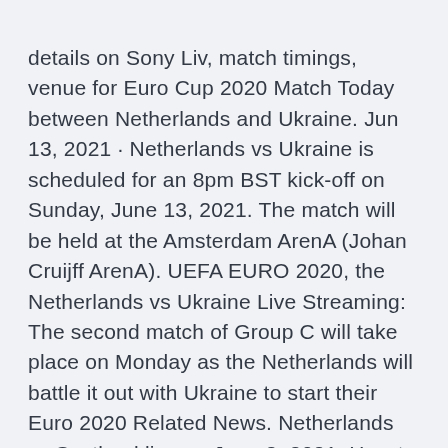details on Sony Liv, match timings, venue for Euro Cup 2020 Match Today between Netherlands and Ukraine. Jun 13, 2021 · Netherlands vs Ukraine is scheduled for an 8pm BST kick-off on Sunday, June 13, 2021. The match will be held at the Amsterdam ArenA (Johan Cruijff ArenA). UEFA EURO 2020, the Netherlands vs Ukraine Live Streaming: The second match of Group C will take place on Monday as the Netherlands will battle it out with Ukraine to start their Euro 2020 Related News. Netherlands vs Scotland live on June 2, 2021: How to watch this interesting friendly in 112 countries The Oranje will look to add Robertson and Co. to their list of victims when the two European sides lock horns in preparation for Euro 2020.